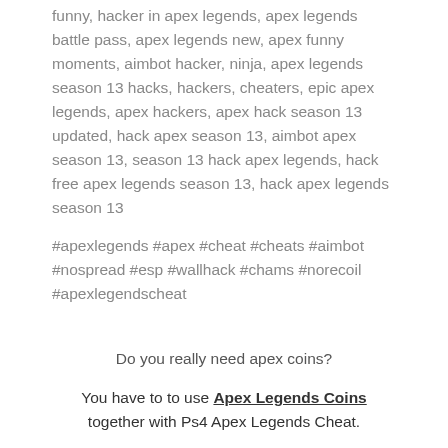funny, hacker in apex legends, apex legends battle pass, apex legends new, apex funny moments, aimbot hacker, ninja, apex legends season 13 hacks, hackers, cheaters, epic apex legends, apex hackers, apex hack season 13 updated, hack apex season 13, aimbot apex season 13, season 13 hack apex legends, hack free apex legends season 13, hack apex legends season 13
#apexlegends #apex #cheat #cheats #aimbot #nospread #esp #wallhack #chams #norecoil #apexlegendscheat
Do you really need apex coins?
You have to to use Apex Legends Coins together with Ps4 Apex Legends Cheat.